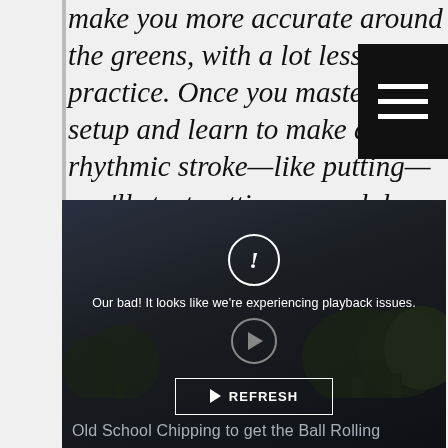make you more accurate around the greens, with a lot less practice. Once you master the setup and learn to make a rhythmic stroke—like putting—you'll start getting up and down more often. Let me show you how to chip old school.
[Figure (screenshot): Video player showing a dark outdoor scene with trees at dusk. Video playback error state with exclamation circle, error message 'Our bad! It looks like we're experiencing playback issues.', a play button circle, and a REFRESH button. Video title reads 'Old School Chipping to get the Ball Rolling'.]